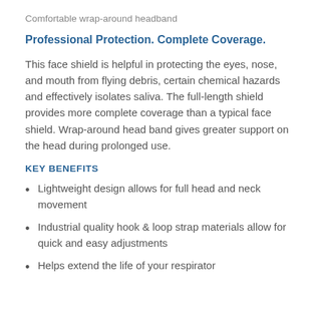Comfortable wrap-around headband
Professional Protection. Complete Coverage.
This face shield is helpful in protecting the eyes, nose, and mouth from flying debris, certain chemical hazards and effectively isolates saliva. The full-length shield provides more complete coverage than a typical face shield. Wrap-around head band gives greater support on the head during prolonged use.
KEY BENEFITS
Lightweight design allows for full head and neck movement
Industrial quality hook & loop strap materials allow for quick and easy adjustments
Helps extend the life of your respirator